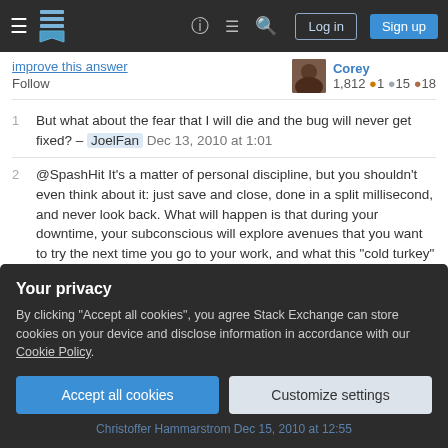Stack Exchange navigation bar with hamburger menu, logo, help, chat, search icons, Log in and Sign up buttons
improve this answer
Follow
Corey 1,812 ● 1 ● 15 ● 18
1 But what about the fear that I will die and the bug will never get fixed? – JoelFan Dec 13, 2010 at 1:01
2 @SpashHit It's a matter of personal discipline, but you shouldn't even think about it: just save and close, done in a split millisecond, and never look back. What will happen is that during your downtime, your subconscious will explore avenues that you want to try the next time you go to your work, and what this "cold turkey" method does is, when you go back to your code, your brain can easily and immediately slip into
Your privacy
By clicking "Accept all cookies", you agree Stack Exchange can store cookies on your device and disclose information in accordance with our Cookie Policy.
Accept all cookies   Customize settings
Christoffer Hammarstrom Dec 15, 2010 at 12:55